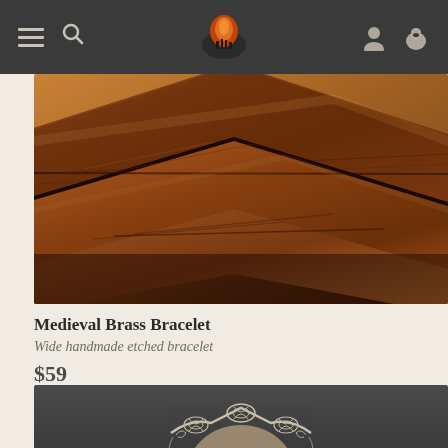Navigation bar with menu, search, logo, user and cart icons
[Figure (photo): Close-up photo of dark brown leather straps with rich texture and grain, medieval bracelet product photo on warm brown background]
Medieval Brass Bracelet
Wide handmade etched bracelet
$59
[Figure (photo): Photo of a person wearing an ornate silver filigree headpiece/crown with Celtic-style patterns on a dark gray background]